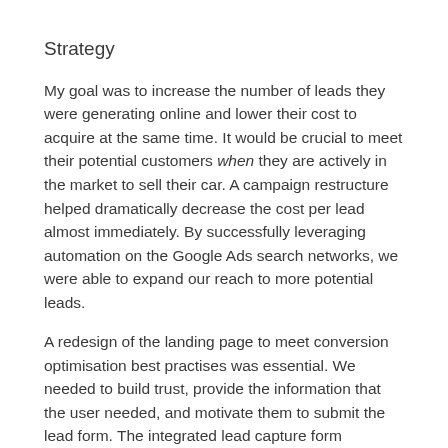Strategy
My goal was to increase the number of leads they were generating online and lower their cost to acquire at the same time. It would be crucial to meet their potential customers when they are actively in the market to sell their car. A campaign restructure helped dramatically decrease the cost per lead almost immediately. By successfully leveraging automation on the Google Ads search networks, we were able to expand our reach to more potential leads.
A redesign of the landing page to meet conversion optimisation best practises was essential. We needed to build trust, provide the information that the user needed, and motivate them to submit the lead form. The integrated lead capture form conveniently emailed their team when a new lead came through and stored a backup on the backend of their website.